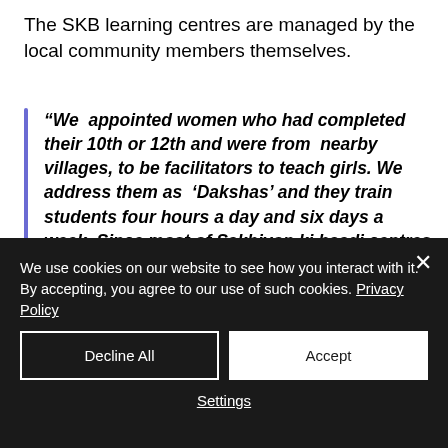The SKB learning centres are managed by the local community members themselves.
“We  appointed women who had completed their 10th or 12th and were from  nearby villages, to be facilitators to teach girls. We address them as  ‘Dakshas’ and they train students four hours a day and six days a week. Since most of Sakhiyon ki baadi centres are operational in public  places, community halls and common open areas, they are easily accessible to everyone,” says Rajiv Shinde, Sr. Zonal Manager, IIFL Foundation
We use cookies on our website to see how you interact with it. By accepting, you agree to our use of such cookies. Privacy Policy
Decline All
Accept
Settings